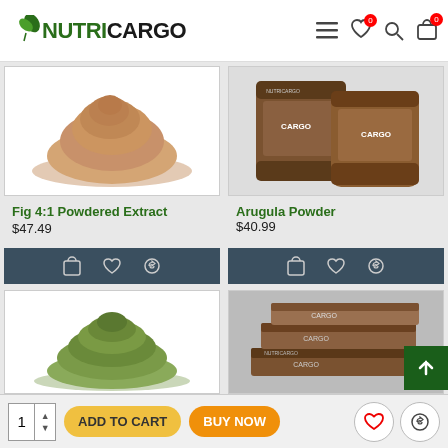NutriCargo
[Figure (photo): Fig 4:1 Powdered Extract - pile of brown powder]
[Figure (photo): Arugula Powder - two wooden barrel-style bags with NutriCargo branding]
Fig 4:1 Powdered Extract
$47.49
Arugula Powder
$40.99
[Figure (photo): Green powder pile]
[Figure (photo): NutriCargo branded packages stacked]
1  ADD TO CART  BUY NOW